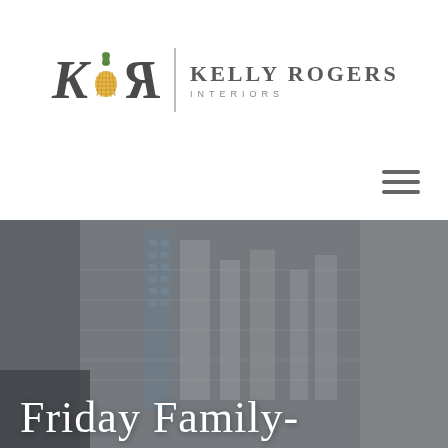[Figure (logo): Kelly Rogers Interiors logo with stylized K and reversed R letters with pineapple icon between them, vertical divider line, and brand name text]
[Figure (other): Hamburger menu icon (three horizontal lines) in upper right]
[Figure (photo): Blurred interior/cityscape photo background with curtains and city buildings visible]
Friday Family-